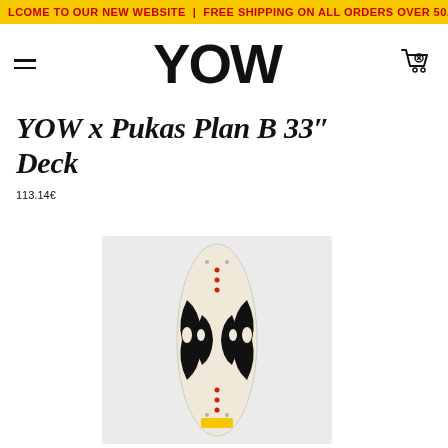LCOME TO OUR NEW WEBSITE | FREE SHIPPING ON ALL ORDERS OVER 50.00€ TO THE
[Figure (logo): YOW brand logo in bold black text]
YOW x Pukas Plan B 33″ Deck
113.14€
[Figure (photo): YOW x Pukas Plan B 33 inch skateboard deck with black and white tribal wave design on a cream/beige background, shown on a light grey product photo background]